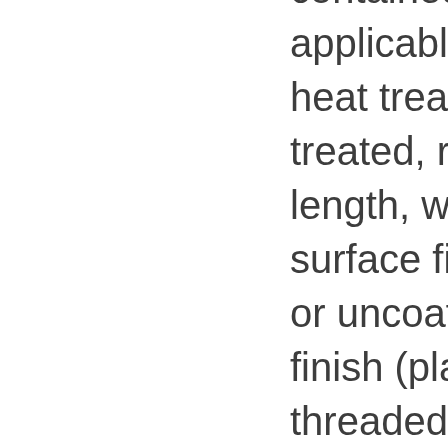contained in the applicable standards), heat treated or not heat treated, regardless of length, wall thickness, surface finish (coated or uncoated), and end finish (plain, bevelled, threaded, or threaded and coupled), in all grades, meeting or